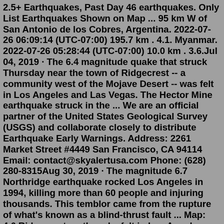2.5+ Earthquakes, Past Day 46 earthquakes. Only List Earthquakes Shown on Map ... 95 km W of San Antonio de los Cobres, Argentina. 2022-07-26 06:09:14 (UTC-07:00) 195.7 km . 4.1. Myanmar. 2022-07-26 05:28:44 (UTC-07:00) 10.0 km . 3.6.Jul 04, 2019 · The 6.4 magnitude quake that struck Thursday near the town of Ridgecrest -- a community west of the Mojave Desert -- was felt in Los Angeles and Las Vegas. The Hector Mine earthquake struck in the ... We are an official partner of the United States Geological Survey (USGS) and collaborate closely to distribute Earthquake Early Warnings. Address: 2261 Market Street #4449 San Francisco, CA 94114 Email: contact@skyalertusa.com Phone: (628) 280-8315Aug 30, 2019 · The magnitude 6.7 Northridge earthquake rocked Los Angeles in 1994, killing more than 60 people and injuring thousands. This temblor came from the rupture of what's known as a blind-thrust fault ... Map: 4.6 Ridgecrest earthquake felt in Los Angeles, biggest in 6 months. The Mercury News - Bay Area News Group • 5h. A magnitude 4.6